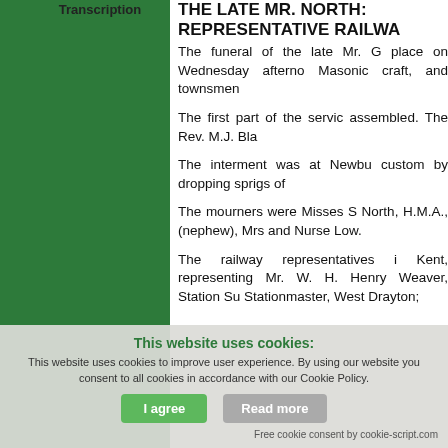Transcription
THE LATE MR. NORTH: REPRESENTATIVE RAILWAY
The funeral of the late Mr. G place on Wednesday afterno Masonic craft, and townsmen
The first part of the servic assembled. The Rev. M.J. Bla
The interment was at Newbu custom by dropping sprigs of
The mourners were Misses S North, H.M.A., (nephew), Mrs and Nurse Low.
The railway representatives i Kent, representing Mr. W. H. Henry Weaver, Station Su Stationmaster, West Drayton;
This website uses cookies:
This website uses cookies to improve user experience. By using our website you consent to all cookies in accordance with our Cookie Policy.
Free cookie consent by cookie-script.com